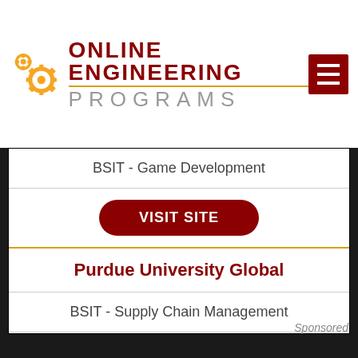[Figure (logo): Online Engineering Programs logo with gear icons]
BSIT - Game Development
VISIT SITE
Purdue University Global
BSIT - Supply Chain Management
VISIT SITE
Sponsored